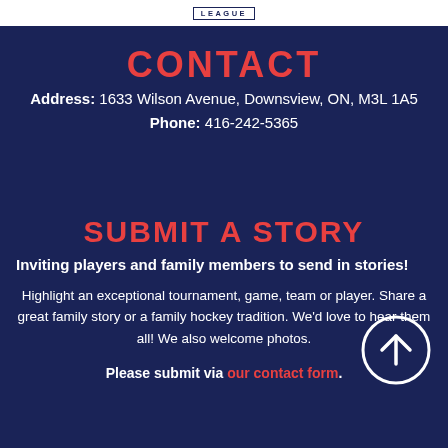LEAGUE
CONTACT
Address: 1633 Wilson Avenue, Downsview, ON, M3L 1A5
Phone: 416-242-5365
SUBMIT A STORY
Inviting players and family members to send in stories!
Highlight an exceptional tournament, game, team or player. Share a great family story or a family hockey tradition. We'd love to hear them all! We also welcome photos.
Please submit via our contact form.
[Figure (other): Circular scroll-to-top arrow button, white outline circle with upward arrow icon]